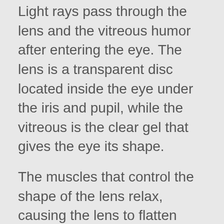Light rays pass through the lens and the vitreous humor after entering the eye. The lens is a transparent disc located inside the eye under the iris and pupil, while the vitreous is the clear gel that gives the eye its shape.
The muscles that control the shape of the lens relax, causing the lens to flatten when you look at an object in the distance. The opposite happens when you look at something nearby. The muscles contract, thickening the lens. The ability of the lens to change shape allows you to shift your focus from near to far objects and back again.
The lens focuses light rays on the retina in the back of the eye. If your eyeball is too long, the rays will